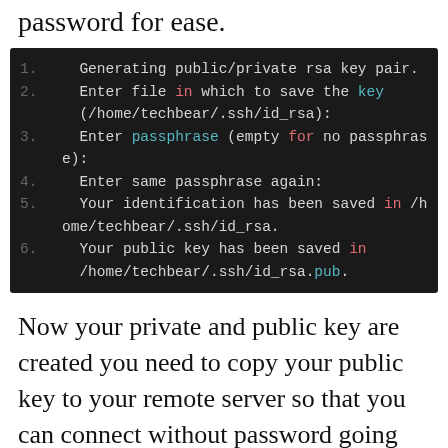password for ease.
[Figure (screenshot): Dark-themed terminal code block showing numbered lines of SSH key generation output with syntax highlighting: red for 'in' and 'for' keywords, cyan for 'passphrase' and 'key', and white/gray for default text.]
Now your private and public key are created you need to copy your public key to your remote server so that you can connect without password going forward. Run the following command to do this. You need ssh access to the server to do this so if it's